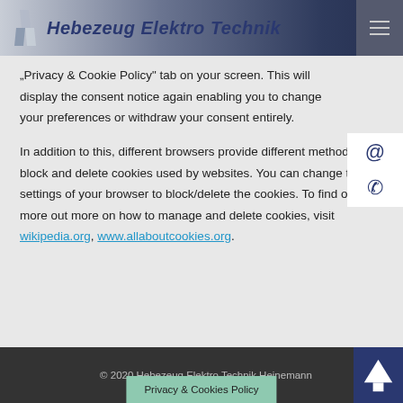Hebezeug Elektro Technik
"Privacy & Cookie Policy" tab on your screen. This will display the consent notice again enabling you to change your preferences or withdraw your consent entirely.
In addition to this, different browsers provide different methods to block and delete cookies used by websites. You can change the settings of your browser to block/delete the cookies. To find out more out more on how to manage and delete cookies, visit wikipedia.org, www.allaboutcookies.org.
© 2020 Hebezeug Elektro Technik Heinemann | Privacy & Cookies Policy